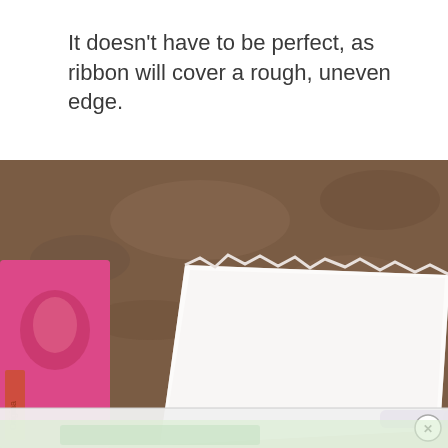It doesn't have to be perfect, as ribbon will cover a rough, uneven edge.
[Figure (photo): A close-up photo of a white square piece of foam or material with rough torn edges placed on a brown surface, with a pink patterned gift box or packaging visible on the left side and a purple marker on the lower right. A partially visible advertisement banner appears at the bottom.]